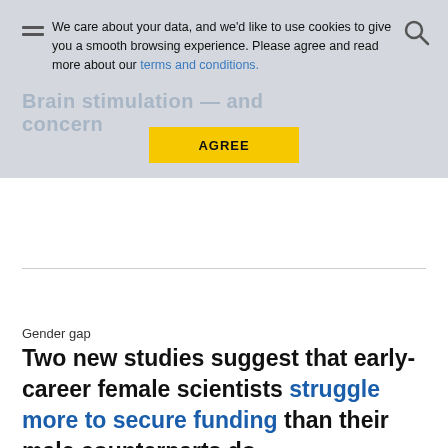We care about your data, and we'd like to use cookies to give you a smooth browsing experience. Please agree and read more about our terms and conditions.
AGREE
Gender gap
Two new studies suggest that early-career female scientists struggle more to secure funding than their male counterparts do.